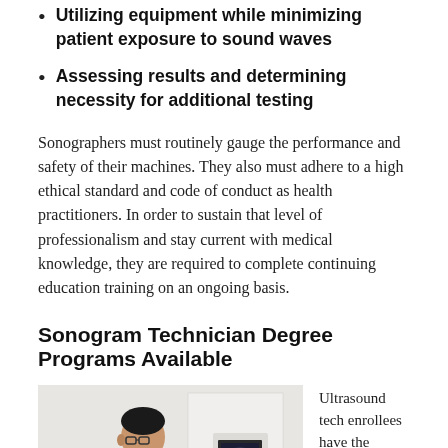Utilizing equipment while minimizing patient exposure to sound waves
Assessing results and determining necessity for additional testing
Sonographers must routinely gauge the performance and safety of their machines. They also must adhere to a high ethical standard and code of conduct as health practitioners. In order to sustain that level of professionalism and stay current with medical knowledge, they are required to complete continuing education training on an ongoing basis.
Sonogram Technician Degree Programs Available
[Figure (photo): A male sonographer in a white coat operating an ultrasound machine, viewed from the side in profile.]
Ultrasound tech enrollees have the choice to acquire either an Associate